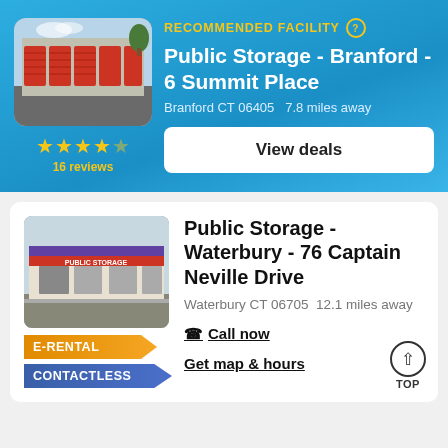RECOMMENDED FACILITY
Public Storage - Branford - 6 Summit Place
Branford CT 06405    7.8 miles away
16 reviews
View deals
[Figure (photo): Photo of Public Storage facility in Branford with red garage doors]
Public Storage - Waterbury - 76 Captain Neville Drive
Waterbury CT 06705  12.1 miles away
E-RENTAL
CONTACTLESS
Call now
Get map & hours
[Figure (photo): Photo of Public Storage facility in Waterbury, single-story building with purple stripe]